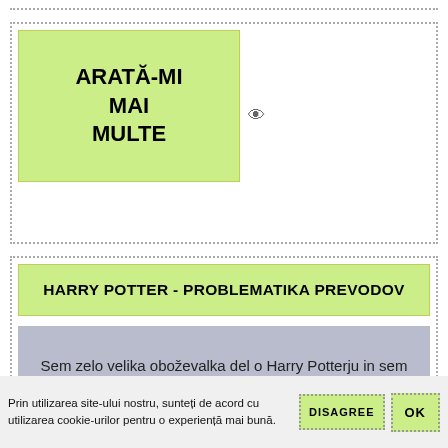[Figure (screenshot): Dotted border strip at top of page]
ARATĂ-MI MAI MULTE
HARRY POTTER - PROBLEMATIKA PREVODOV
Sem zelo velika oboževalka del o Harry Potterju in sem vse knjige večkrat prebrala, tako v slovenščini, kot v angleščini. Pri tem sem v prevodu opazila ...
ARATĂ-MI MAI MULTE
Prin utilizarea site-ului nostru, sunteți de acord cu utilizarea cookie-urilor pentru o experiență mai bună.